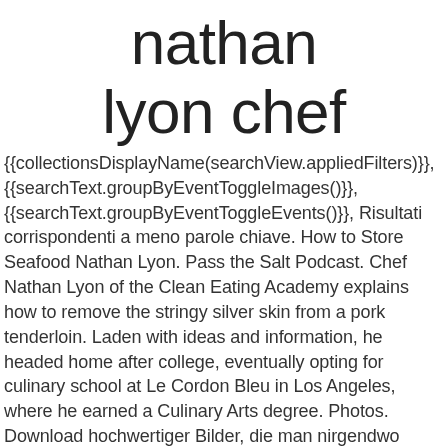nathan lyon chef
{{collectionsDisplayName(searchView.appliedFilters)}}, {{searchText.groupByEventToggleImages()}}, {{searchText.groupByEventToggleEvents()}}, Risultati corrispondenti a meno parole chiave. How to Store Seafood Nathan Lyon. Pass the Salt Podcast. Chef Nathan Lyon of the Clean Eating Academy explains how to remove the stringy silver skin from a pork tenderloin. Laden with ideas and information, he headed home after college, eventually opting for culinary school at Le Cordon Bleu in Los Angeles, where he earned a Culinary Arts degree. Photos. Download hochwertiger Bilder, die man nirgendwo sonst findet. Join. Share Facebook; Pinterest; Twitter; Email; Print. Nathan Lyon – Co-host / Chef. Chef Nathan Lyon turns the typical cooking show...